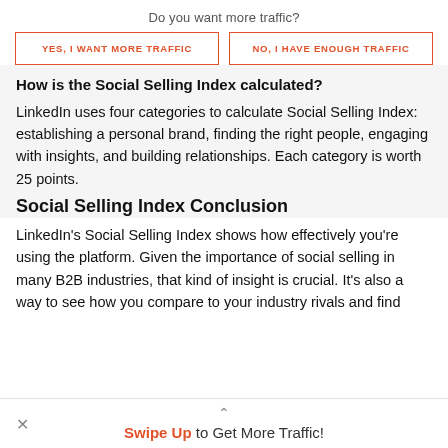Do you want more traffic?
YES, I WANT MORE TRAFFIC
NO, I HAVE ENOUGH TRAFFIC
How is the Social Selling Index calculated?
LinkedIn uses four categories to calculate Social Selling Index: establishing a personal brand, finding the right people, engaging with insights, and building relationships. Each category is worth 25 points.
Social Selling Index Conclusion
LinkedIn's Social Selling Index shows how effectively you're using the platform. Given the importance of social selling in many B2B industries, that kind of insight is crucial. It's also a way to see how you compare to your industry rivals and find
Swipe Up to Get More Traffic!